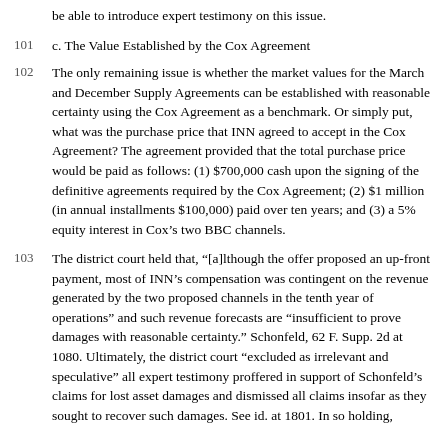be able to introduce expert testimony on this issue.
101 c. The Value Established by the Cox Agreement
102 The only remaining issue is whether the market values for the March and December Supply Agreements can be established with reasonable certainty using the Cox Agreement as a benchmark. Or simply put, what was the purchase price that INN agreed to accept in the Cox Agreement? The agreement provided that the total purchase price would be paid as follows: (1) $700,000 cash upon the signing of the definitive agreements required by the Cox Agreement; (2) $1 million (in annual installments $100,000) paid over ten years; and (3) a 5% equity interest in Cox’s two BBC channels.
103 The district court held that, "[a]lthough the offer proposed an up-front payment, most of INN’s compensation was contingent on the revenue generated by the two proposed channels in the tenth year of operations" and such revenue forecasts are "insufficient to prove damages with reasonable certainty." Schonfeld, 62 F. Supp. 2d at 1080. Ultimately, the district court "excluded as irrelevant and speculative" all expert testimony proffered in support of Schonfeld’s claims for lost asset damages and dismissed all claims insofar as they sought to recover such damages. See id. at 1801. In so holding,